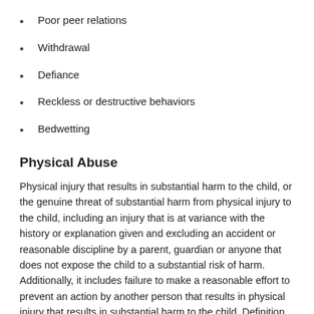Poor peer relations
Withdrawal
Defiance
Reckless or destructive behaviors
Bedwetting
Physical Abuse
Physical injury that results in substantial harm to the child, or the genuine threat of substantial harm from physical injury to the child, including an injury that is at variance with the history or explanation given and excluding an accident or reasonable discipline by a parent, guardian or anyone that does not expose the child to a substantial risk of harm. Additionally, it includes failure to make a reasonable effort to prevent an action by another person that results in physical injury that results in substantial harm to the child. Definition taken from Texas State Family Code, Section 261.001.